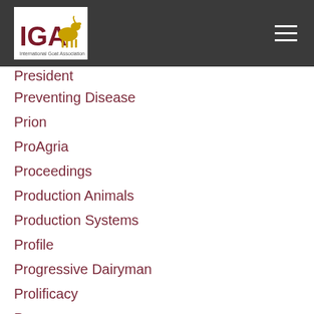IGA — International Goat Association
President
Preventing Disease
Prion
ProAgria
Proceedings
Production Animals
Production Systems
Profile
Progressive Dairyman
Prolificacy
Pro-poor
Puerto Rico
Pu Jiabi
Qazvin
Querétaro
Questionnaire
Raeini